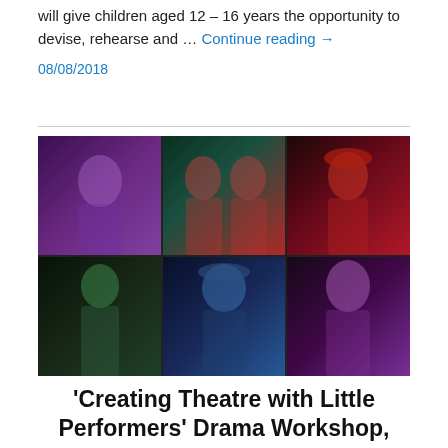will give children aged 12 – 16 years the opportunity to devise, rehearse and … Continue reading →
08/08/2018
[Figure (photo): A 3x2 grid of six theatrical performance photos of children in costumes and stage lighting: top row shows a girl in purple stage light, two children in red costumes, a boy in a red medieval hat and red costume; bottom row shows a boy in green costume, a girl with a cap in blue lighting, and a girl with pink hair in purple lighting.]
'Creating Theatre with Little Performers' Drama Workshop,